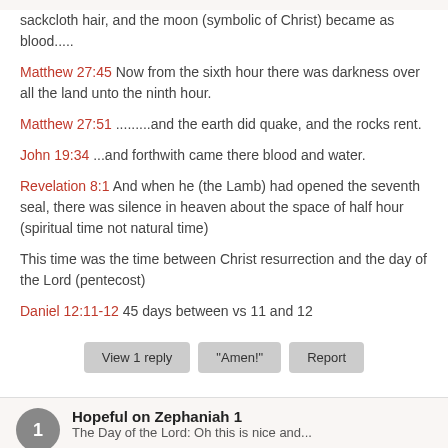sackcloth hair, and the moon (symbolic of Christ) became as blood.....
Matthew 27:45 Now from the sixth hour there was darkness over all the land unto the ninth hour.
Matthew 27:51 .........and the earth did quake, and the rocks rent.
John 19:34 ...and forthwith came there blood and water.
Revelation 8:1 And when he (the Lamb) had opened the seventh seal, there was silence in heaven about the space of half hour (spiritual time not natural time)
This time was the time between Christ resurrection and the day of the Lord (pentecost)
Daniel 12:11-12 45 days between vs 11 and 12
Hopeful on Zephaniah 1
The Day of the Lord: Oh this is nice and...